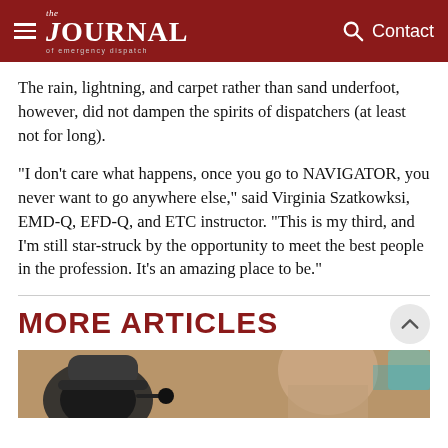the JOURNAL of emergency dispatch | Contact
The rain, lightning, and carpet rather than sand underfoot, however, did not dampen the spirits of dispatchers (at least not for long).
“I don’t care what happens, once you go to NAVIGATOR, you never want to go anywhere else,” said Virginia Szatkowksi, EMD-Q, EFD-Q, and ETC instructor. “This is my third, and I’m still star-struck by the opportunity to meet the best people in the profession. It’s an amazing place to be.”
MORE ARTICLES
[Figure (photo): Partial view of a person wearing a headset/microphone at a dispatch workstation, cropped at the bottom of the page.]